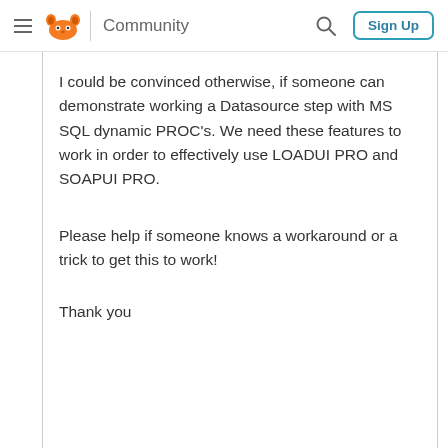Community  Sign Up
I could be convinced otherwise, if someone can demonstrate working a Datasource step with MS SQL dynamic PROC's. We need these features to work in order to effectively use LOADUI PRO and SOAPUI PRO.
Please help if someone knows a workaround or a trick to get this to work!
Thank you